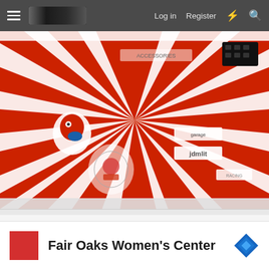☰  [logo]  Log in  Register  ⚡  🔍
[Figure (photo): Photo of a red and white rising sun style flag/banner laid flat with various JDM car stickers placed on top of it, including stickers that read 'jdmlit' and other Japanese car culture brand stickers. A small clear acrylic or glass piece with a red logo is visible in the lower left area of the flag.]
Fair Oaks Women's Center